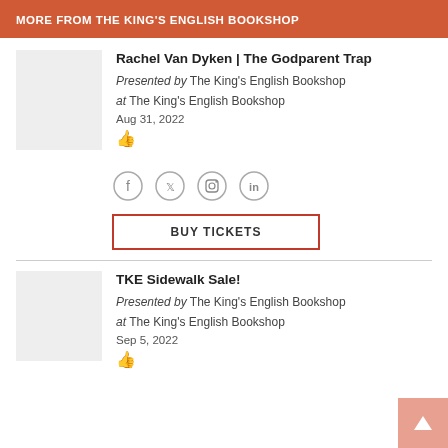MORE FROM THE KING'S ENGLISH BOOKSHOP
Rachel Van Dyken | The Godparent Trap
Presented by The King's English Bookshop
at The King's English Bookshop
Aug 31, 2022
[Figure (infographic): Social media icons: Facebook, Twitter, Instagram, LinkedIn (circular outlined icons)]
BUY TICKETS
TKE Sidewalk Sale!
Presented by The King's English Bookshop
at The King's English Bookshop
Sep 5, 2022